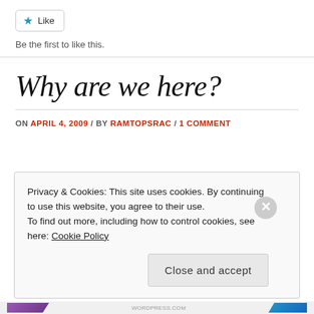[Figure (other): Like button widget with blue star icon and 'Like' label]
Be the first to like this.
Why are we here?
ON APRIL 4, 2009 / BY RAMTOPSRAC / 1 COMMENT
Privacy & Cookies: This site uses cookies. By continuing to use this website, you agree to their use. To find out more, including how to control cookies, see here: Cookie Policy